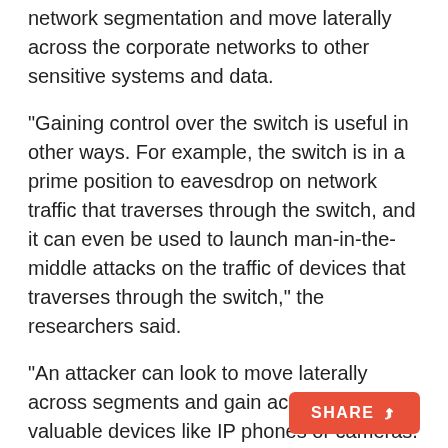network segmentation and move laterally across the corporate networks to other sensitive systems and data.
"Gaining control over the switch is useful in other ways. For example, the switch is in a prime position to eavesdrop on network traffic that traverses through the switch, and it can even be used to launch man-in-the-middle attacks on the traffic of devices that traverses through the switch," the researchers said.
"An attacker can look to move laterally across segments and gain access to valuable devices like IP phones or cameras. Unlike switches, these devices hold sensitive data directly, and the reason to take them over can be a goal of an attacker, and not merely a way to break out of segmentation."